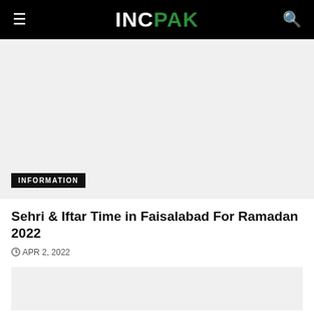INCPAK
[Figure (photo): Hero image area with INFORMATION badge overlay at bottom left]
Sehri & Iftar Time in Faisalabad For Ramadan 2022
APR 2, 2022
[Figure (photo): Secondary image area below article title]